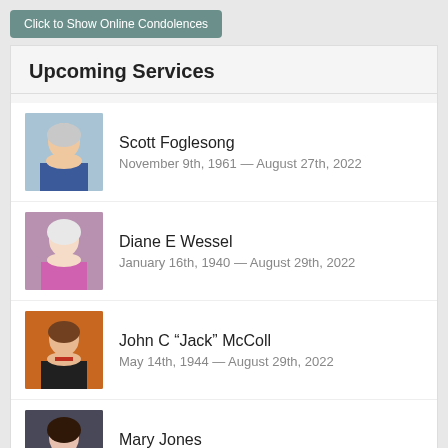Click to Show Online Condolences
Upcoming Services
Scott Foglesong — November 9th, 1961 — August 27th, 2022
Diane E Wessel — January 16th, 1940 — August 29th, 2022
John C "Jack" McColl — May 14th, 1944 — August 29th, 2022
Mary Jones — July 2nd, 1944 — August 30th, 2022
Candy L Trumbull — July 28th, 1982 — August 30th, 2022